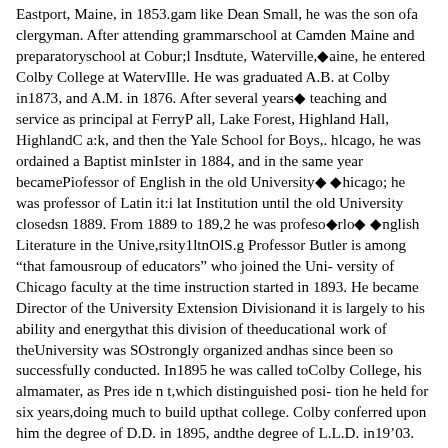Eastport, Maine, in 1853.gam like Dean Small, he was the son ofa clergyman. After attending grammarschool at Camden Maine and preparatoryschool at Cobur;l Insdtute, Waterville,◆aine, he entered Colby College at WatervIlle. He was graduated A.B. at Colby in1873, and A.M. in 1876. After several years◆ teaching and service as principal at FerryP all, Lake Forest, Highland Hall, HighlandC a:k, and then the Yale School for Boys,. hlcago, he was ordained a Baptist minIster in 1884, and in the same year becamePiofessor of English in the old University◆ ◆hicago; he was professor of Latin it:i lat Institution until the old University closedsn 1889. From 1889 to 189,2 he was profeso◆rlo◆ ◆nglish Literature in the Unive,rsity1ltnOlS.g Professor Butler is among "that famousroup of educators" who joined the Uni- versity of Chicago faculty at the time instruction started in 1893. He became Director of the University Extension Divisionand it is largely to his ability and energythat this division of theeducational work of theUniversity was SOstrongly organized andhas since been so successfully conducted. In1895 he was called toColby College, his almamater, as Pres ide n t,which distinguished posi- tion he held for six years,doing much to build upthat college. Colby conferred upon him the degree of D.D. in 1895, andthe degree of L.L.D. in19'03. Last June Dr. Butler was the commence- ment orator at Colby.In 1901 Dr. Butler re.turned to the Universityof Chicago as professorof education, and in 1905he was made Bean of theColl e g e of Education,which branch of the Uni-